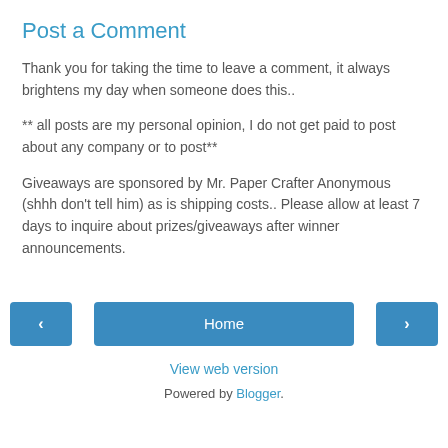Post a Comment
Thank you for taking the time to leave a comment, it always brightens my day when someone does this..
** all posts are my personal opinion, I do not get paid to post about any company or to post**
Giveaways are sponsored by Mr. Paper Crafter Anonymous (shhh don't tell him) as is shipping costs.. Please allow at least 7 days to inquire about prizes/giveaways after winner announcements.
[Figure (screenshot): Navigation bar with left arrow button, Home button, and right arrow button]
View web version
Powered by Blogger.